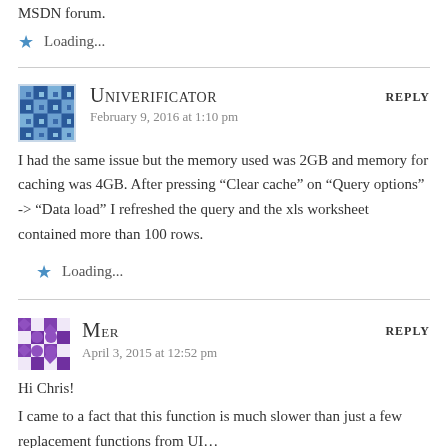MSDN forum.
Loading...
UNIVERIFICATOR says: February 9, 2016 at 1:10 pm
I had the same issue but the memory used was 2GB and memory for caching was 4GB. After pressing “Clear cache” on “Query options” -> “Data load” I refreshed the query and the xls worksheet contained more than 100 rows.
Loading...
MER says: April 3, 2015 at 12:52 pm
Hi Chris!
I came to a fact that this function is much slower than just a few replacement functions from UI…
It really crashes my performance. =(